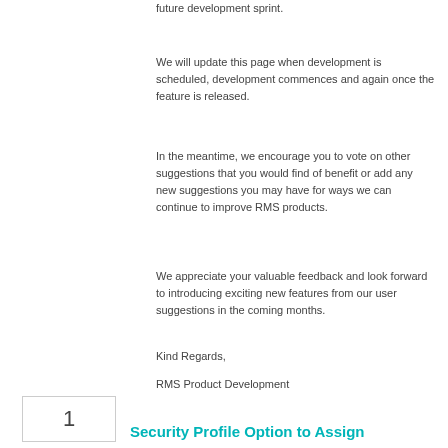future development sprint.
We will update this page when development is scheduled, development commences and again once the feature is released.
In the meantime, we encourage you to vote on other suggestions that you would find of benefit or add any new suggestions you may have for ways we can continue to improve RMS products.
We appreciate your valuable feedback and look forward to introducing exciting new features from our user suggestions in the coming months.
Kind Regards,
RMS Product Development
1
Security Profile Option to Assign